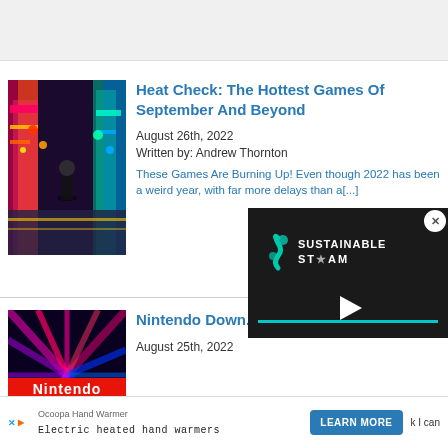[Figure (screenshot): Top navigation/search bar area, light grey background]
[Figure (photo): Colorful game screenshot showing a character in a neon-lit city scene]
Heat Check: The Hottest Games Of September And Beyond
August 26th, 2022
Written by: Andrew Thornton
These Games Are Burning Up! Even though 2022 has been a weird year, with far more delays than a[...]
[Figure (photo): Nintendo Download thumbnail with neon light trails background, text 'Nintendo' and 'DOWNLOAD']
Nintendo Down...
August 25th, 2022
[Figure (screenshot): Video overlay popup showing Sustainable Steam logo with play button and teal progress bar]
Ocoopa Hand Warmer
Electric heated hand warmers
k I can
LEARN MORE